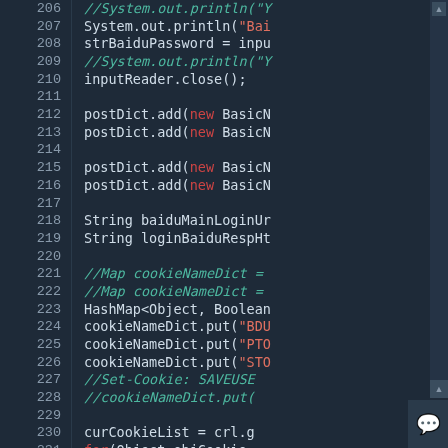[Figure (screenshot): Code editor screenshot showing Java source code lines 206-231 with syntax highlighting on a dark blue-gray background. Line numbers in gray on left, comments in teal/green italic, string literals in red/salmon, keywords like 'new' and 'for' in red, normal code in light gray/white.]